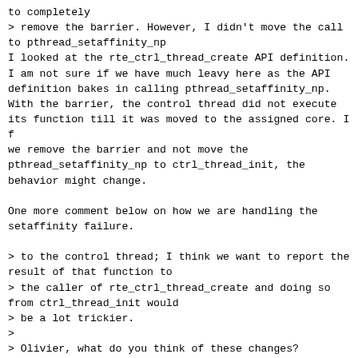to completely
> remove the barrier. However, I didn't move the call to pthread_setaffinity_np
I looked at the rte_ctrl_thread_create API definition. I am not sure if we have much leavy here as the API definition bakes in calling pthread_setaffinity_np. With the barrier, the control thread did not execute its function till it was moved to the assigned core. If we remove the barrier and not move the pthread_setaffinity_np to ctrl_thread_init, the behavior might change.

One more comment below on how we are handling the setaffinity failure.

> to the control thread; I think we want to report the result of that function to
> the caller of rte_ctrl_thread_create and doing so from ctrl_thread_init would
> be a lot trickier.
>
> Olivier, what do you think of these changes?
>
>  lib/librte_eal/common/eal_common_thread.c | 35 +++++++++-----------------
>  1 file changed, 12 insertions(+), 23 deletions(-)
>
> diff --git
a/lib/librte_eal/common/eal_common_thread.c
> b/lib/librte_eal/common/eal_common_thread.c